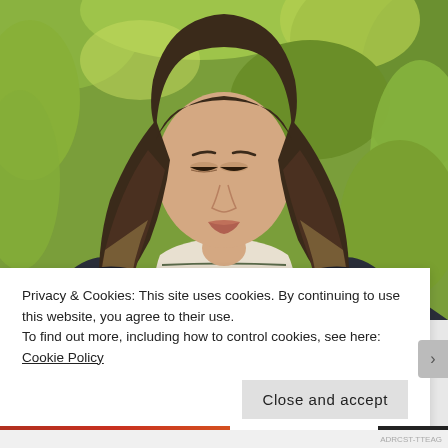[Figure (photo): Portrait photo of a young woman with long ombre hair (dark brown to blonde), wearing a striped turtleneck and dark blazer, looking downward, outdoors with green foliage background]
Privacy & Cookies: This site uses cookies. By continuing to use this website, you agree to their use.
To find out more, including how to control cookies, see here: Cookie Policy
Close and accept